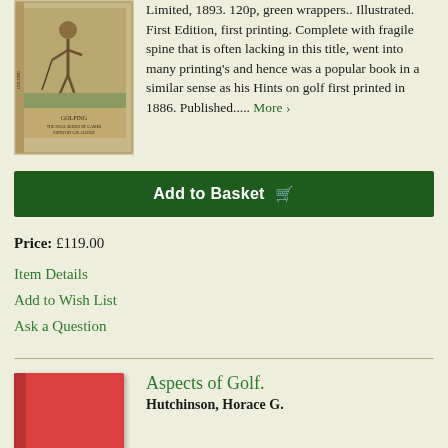[Figure (photo): Old book cover with a golfer image, titled 'Golfing', part of 'The Oval Series of Games']
Limited, 1893. 120p, green wrappers.. Illustrated. First Edition, first printing. Complete with fragile spine that is often lacking in this title, went into many printing's and hence was a popular book in a similar sense as his Hints on golf first printed in 1886. Published..... More >
Add to Basket 🛒
Price: £119.00
Item Details
Add to Wish List
Ask a Question
[Figure (photo): Red hardcover book]
Aspects of Golf.
Hutchinson, Horace G.